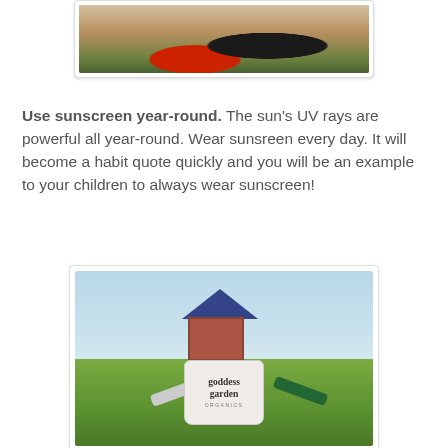[Figure (photo): Partial photo of a woman in a black top and a child in a red shirt, cropped at top of page]
Use sunscreen year-round. The sun's UV rays are powerful all year-round. Wear sunsreen every day. It will become a habit quote quickly and you will be an example to your children to always wear sunscreen!
[Figure (photo): Photo of a playground with slides and climbing structure in background, with a white Goddess Garden Organics bag in the foreground on green grass]